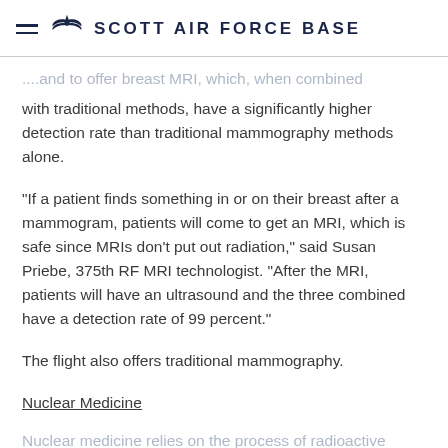SCOTT AIR FORCE BASE
...and to offer breast MRI, which, when combined with traditional methods, have a significantly higher detection rate than traditional mammography methods alone.
"If a patient finds something in or on their breast after a mammogram, patients will come to get an MRI, which is safe since MRIs don't put out radiation," said Susan Priebe, 375th RF MRI technologist. "After the MRI, patients will have an ultrasound and the three combined have a detection rate of 99 percent."
The flight also offers traditional mammography.
Nuclear Medicine
Nuclear medicine relies on the process of radioactive...